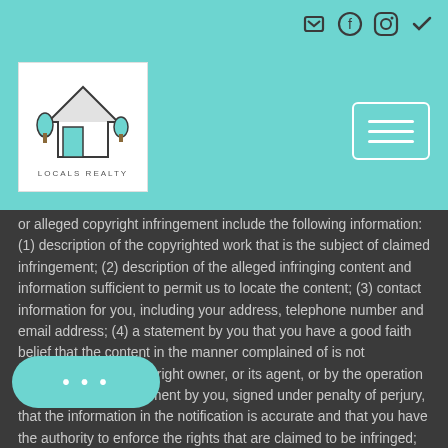[Figure (logo): Locals Realty logo with house icon and text LOCALS REALTY]
or alleged copyright infringement include the following information: (1) description of the copyrighted work that is the subject of claimed infringement; (2) description of the alleged infringing content and information sufficient to permit us to locate the content; (3) contact information for you, including your address, telephone number and email address; (4) a statement by you that you have a good faith belief that the content in the manner complained of is not authorized by the copyright owner, or its agent, or by the operation of any law; (5) a statement by you, signed under penalty of perjury, that the information in the notification is accurate and that you have the authority to enforce the rights that are claimed to be infringed; and (6) a physical or electronic signature of the copyright owner or a person authorized to act on the copyright owners behalf. Failure to